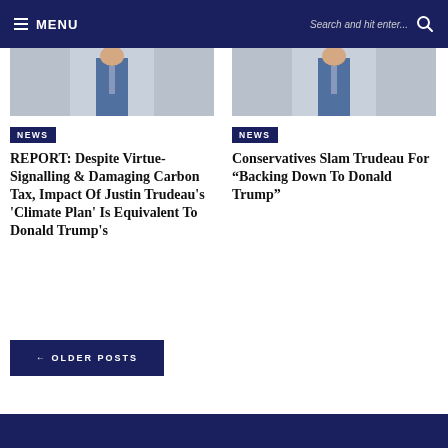MENU | Search and hit enter...
[Figure (photo): Photo of a person in a blue suit, cropped to show torso and legs, left column]
NEWS
REPORT: Despite Virtue-Signalling & Damaging Carbon Tax, Impact Of Justin Trudeau's 'Climate Plan' Is Equivalent To Donald Trump's
[Figure (photo): Photo of a person in a blue suit, cropped to show torso and legs, right column]
NEWS
Conservatives Slam Trudeau For “Backing Down To Donald Trump”
← OLDER POSTS